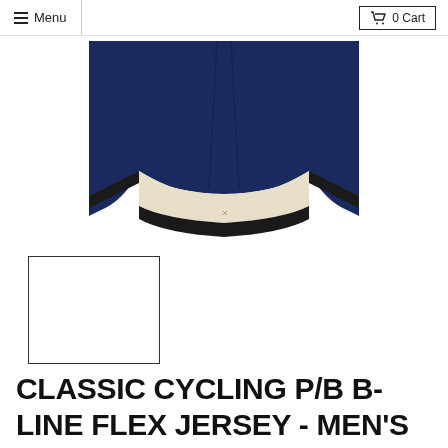Menu   0 Cart
[Figure (photo): Close-up photo of the bottom hem of a navy blue cycling jersey showing cream/off-white interior lining and black elastic band]
[Figure (photo): White/blank thumbnail image in a square border]
CLASSIC CYCLING P/B B-LINE FLEX JERSEY - MEN'S